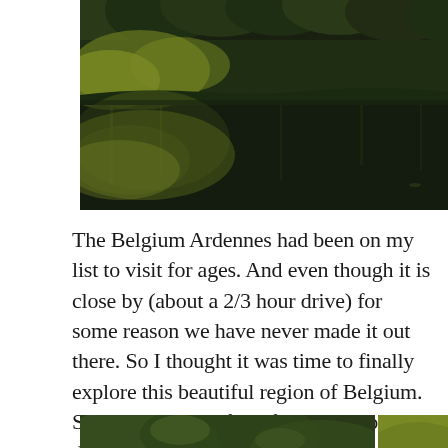[Figure (photo): A river or lake scene with dark water reflecting surrounding forest trees. Dense green and yellow-green foliage lines the far bank. The image has a moody, natural atmosphere.]
The Belgium Ardennes had been on my list to visit for ages. And even though it is close by (about a 2/3 hour drive) for some reason we have never made it out there. So I thought it was time to finally explore this beautiful region of Belgium. So I invited one of my friends to go on a day hike.
[Figure (photo): Partial view of a forested hillside with green trees, bottom of page, left portion.]
[Figure (photo): Partial view of a forested hillside with bright green/yellow-green trees, bottom of page, right portion.]